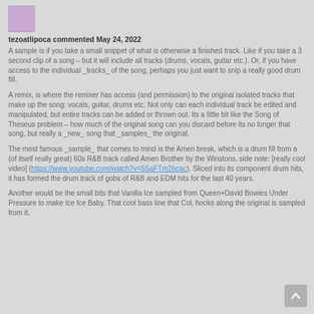[Figure (illustration): Small purple/pink avatar icon in top left corner]
tezoatlipoca commented May 24, 2022
A sample is if you take a small snippet of what is otherwise a finished track. Like if you take a 3 second clip of a song – but it will include all tracks (drums, vocals, guitar etc.). Or, if you have access to the individual _tracks_ of the song, perhaps you just want to snip a really good drum fill.
A remix, is where the remixer has access (and permission) to the original isolated tracks that make up the song: vocals, guitar, drums etc. Not only can each individual track be edited and manipulated, but entire tracks can be added or thrown out. Its a little bit like the Song of Theseus problem – how much of the original song can you discard before its no longer that song, but really a _new_ song that _samples_ the original.
The most famous _sample_ that comes to mind is the Amen break, which is a drum fill from a (of itself really great) 60s R&B track called Amen Brother by the Winstons. side note: [really cool video] (https://www.youtube.com/watch?v=5SaFTm2bcac). Sliced into its component drum hits, it has formed the drum track of gobs of R&B and EDM hits for the last 40 years.
Another would be the small bits that Vanilla Ice sampled from Queen+David Bowies Under Pressure to make Ice Ice Baby. That cool bass line that Col, hooks along the original is sampled from it.